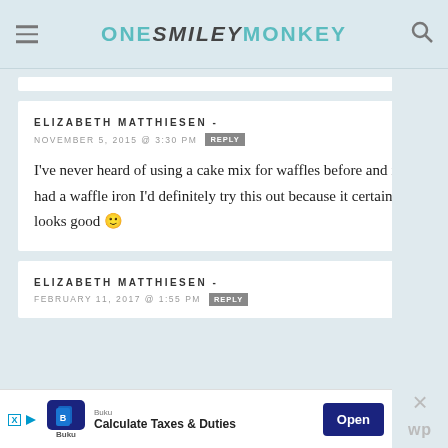ONE SMILEY MONKEY
ELIZABETH MATTHIESEN -
NOVEMBER 5, 2015 @ 3:30 PM  REPLY
I've never heard of using a cake mix for waffles before and if I had a waffle iron I'd definitely try this out because it certainly looks good 🙂
ELIZABETH MATTHIESEN -
FEBRUARY 11, 2017 @ 1:55 PM  REPLY
[Figure (infographic): Advertisement bar: Buku app - Calculate Taxes & Duties - Open button]